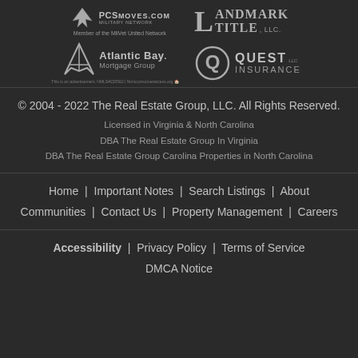[Figure (logo): PCSMoves.com Military Network logo — eagle/wings icon, text 'PCSMoves.com Military Network', subtext 'Member of the MilVet United Network']
[Figure (logo): Landmark Title, LLC logo — large stylized 'L' with serif text 'LANDMARK TITLE, LLC']
[Figure (logo): Atlantic Bay Mortgage Group logo — stylized 'A' icon with 'Atlantic Bay. Mortgage Group' text and fine print below]
[Figure (logo): Quest Insurance LLC logo — circular 'Q' icon with 'QUEST INSURANCE LLC' text]
© 2004 - 2022 The Real Estate Group, LLC. All Rights Reserved.
Licensed in Virginia & North Carolina
DBA The Real Estate Group In Virginia
DBA The Real Estate Group Carolina Properties in North Carolina
Home  |  Important Notes  |  Search Listings  |  About  |  Communities  |  Contact Us  |  Property Management  |  Careers
Accessibility  |  Privacy Policy  |  Terms of Service  |  DMCA Notice